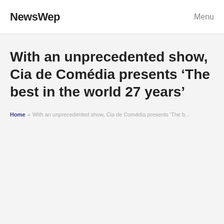NewsWep  Menu
With an unprecedented show, Cia de Comédia presents ‘The best in the world 27 years’
Home » With an unprecedented show, Cia de Comédia presents 'The b...